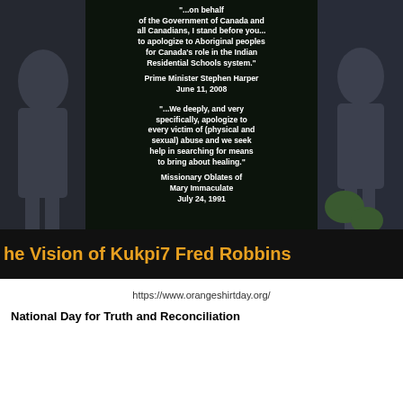[Figure (photo): A dark background image showing people with a central overlay containing two quotes: one from Prime Minister Stephen Harper (June 11, 2008) about apologizing to Aboriginal peoples for Canada's role in the Indian Residential Schools system, and one from Missionary Oblates of Mary Immaculate (July 24, 1991) about apologizing to victims of abuse. A title bar at the bottom reads 'he Vision of Kukpi7 Fred Robbins' in orange text.]
https://www.orangeshirtday.org/
National Day for Truth and Reconciliation